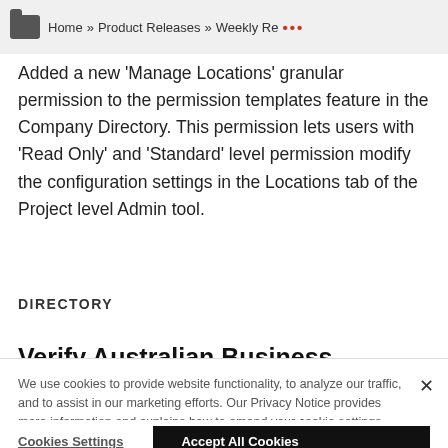Home » Product Releases » Weekly Re...
Added a new 'Manage Locations' granular permission to the permission templates feature in the Company Directory. This permission lets users with 'Read Only' and 'Standard' level permission modify the configuration settings in the Locations tab of the Project level Admin tool.
DIRECTORY
Verify Australian Business Numbers (ABNs) in
We use cookies to provide website functionality, to analyze our traffic, and to assist in our marketing efforts. Our Privacy Notice provides more information and explains how to amend your cookie settings. Privacy Notice